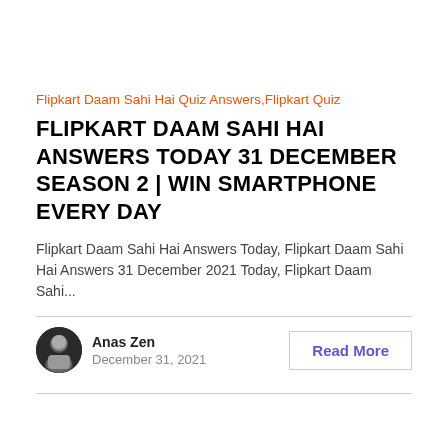Flipkart Daam Sahi Hai Quiz Answers,Flipkart Quiz
FLIPKART DAAM SAHI HAI ANSWERS TODAY 31 DECEMBER SEASON 2 | WIN SMARTPHONE EVERY DAY
Flipkart Daam Sahi Hai Answers Today, Flipkart Daam Sahi Hai Answers 31 December 2021 Today, Flipkart Daam Sahi...
Anas Zen
December 31, 2021
Read More